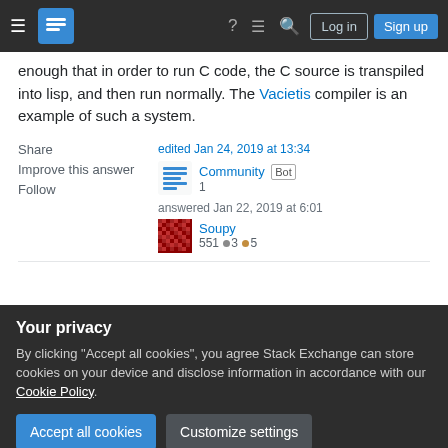Stack Exchange navigation bar with Log in and Sign up buttons
enough that in order to run C code, the C source is transpiled into lisp, and then run normally. The Vacietis compiler is an example of such a system.
Share
Improve this answer
Follow
edited Jan 24, 2019 at 13:34
Community Bot 1
answered Jan 22, 2019 at 6:01
Soupy
551 ●3 ●5
Your privacy
By clicking "Accept all cookies", you agree Stack Exchange can store cookies on your device and disclose information in accordance with our Cookie Policy.
Accept all cookies
Customize settings
2  Interesting to hear about C being transpiled into lisp!